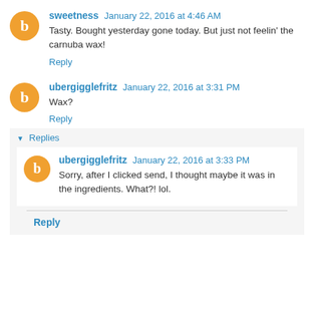sweetness January 22, 2016 at 4:46 AM
Tasty. Bought yesterday gone today. But just not feelin' the carnuba wax!
Reply
ubergigglefritz January 22, 2016 at 3:31 PM
Wax?
Reply
Replies
ubergigglefritz January 22, 2016 at 3:33 PM
Sorry, after I clicked send, I thought maybe it was in the ingredients. What?! lol.
Reply